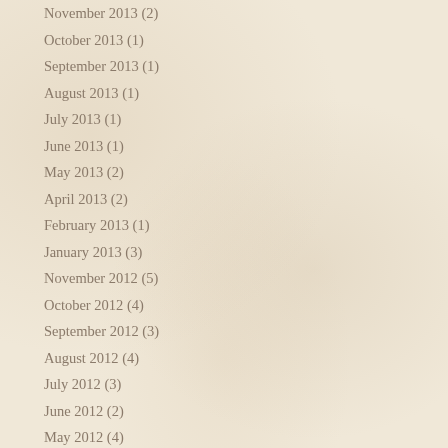November 2013 (2)
October 2013 (1)
September 2013 (1)
August 2013 (1)
July 2013 (1)
June 2013 (1)
May 2013 (2)
April 2013 (2)
February 2013 (1)
January 2013 (3)
November 2012 (5)
October 2012 (4)
September 2012 (3)
August 2012 (4)
July 2012 (3)
June 2012 (2)
May 2012 (4)
April 2012 (6)
March 2012 (4)
February 2012 (2)
January 2012 (3)